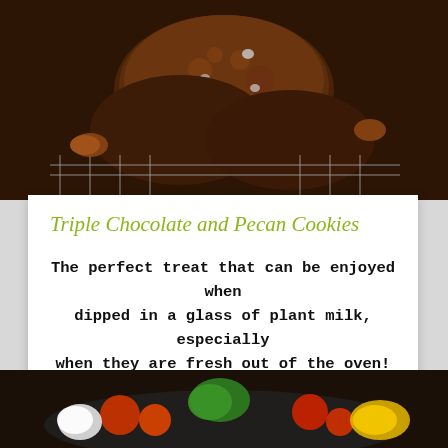[Figure (photo): Close-up photo of stacked chocolate pecan cookies on a cooling rack]
Triple Chocolate and Pecan Cookies
The perfect treat that can be enjoyed when dipped in a glass of plant milk, especially when they are fresh out of the oven!
35 mins
10 - 12 people
[Figure (photo): Colorful vegetable dish with tomatoes, basil and eggs in a pan]